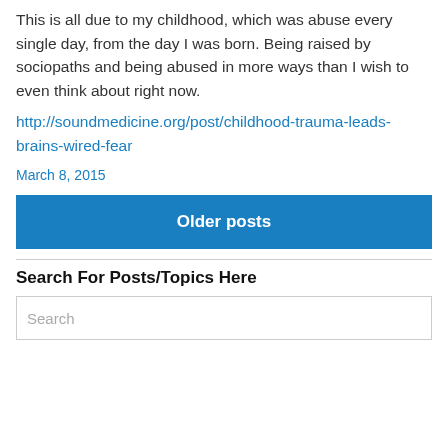This is all due to my childhood, which was abuse every single day, from the day I was born. Being raised by sociopaths and being abused in more ways than I wish to even think about right now.
http://soundmedicine.org/post/childhood-trauma-leads-brains-wired-fear
March 8, 2015
Older posts
Search For Posts/Topics Here